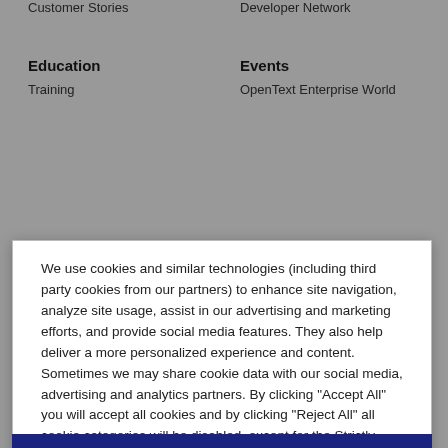Customer Stories
Developer Network
Education
Events
Training
OpenText Enterprise World
We use cookies and similar technologies (including third party cookies from our partners) to enhance site navigation, analyze site usage, assist in our advertising and marketing efforts, and provide social media features. They also help deliver a more personalized experience and content. Sometimes we may share cookie data with our social media, advertising and analytics partners. By clicking "Accept All" you will accept all cookies and by clicking "Reject All" all cookie categories will be disabled, except for the Strictly necessary cookies. Under "Cookies Preferences" you can update or manage your settings at any time. See our Cookie Policy
Cookies Preferences